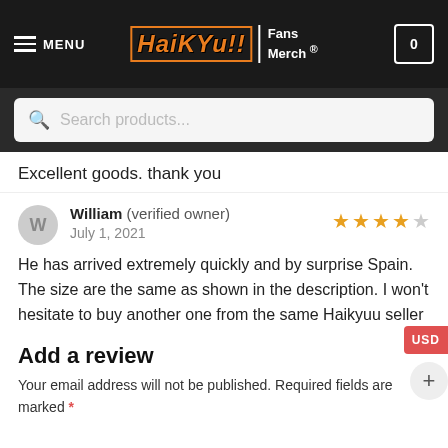MENU | HaiKYu!! Fans Merch ® | 0
Search products...
Excellent goods. thank you
William (verified owner) – July 1, 2021 – 4 stars
He has arrived extremely quickly and by surprise Spain. The size are the same as shown in the description. I won't hesitate to buy another one from the same Haikyuu seller
Add a review
Your email address will not be published. Required fields are marked *